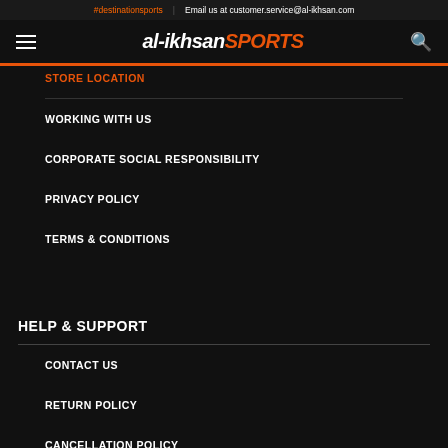#destinationsports | Email us at customer.service@al-ikhsan.com
al-ikhsan SPORTS
STORE LOCATION
WORKING WITH US
CORPORATE SOCIAL RESPONSIBILITY
PRIVACY POLICY
TERMS & CONDITIONS
HELP & SUPPORT
CONTACT US
RETURN POLICY
CANCELLATION POLICY